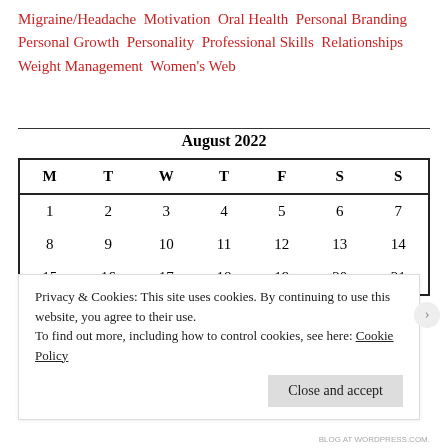Migraine/Headache  Motivation  Oral Health  Personal Branding  Personal Growth  Personality  Professional Skills  Relationships  Weight Management  Women's Web
| M | T | W | T | F | S | S |
| --- | --- | --- | --- | --- | --- | --- |
| 1 | 2 | 3 | 4 | 5 | 6 | 7 |
| 8 | 9 | 10 | 11 | 12 | 13 | 14 |
| 15 | 16 | 17 | 18 | 19 | 20 | 21 |
Privacy & Cookies: This site uses cookies. By continuing to use this website, you agree to their use.
To find out more, including how to control cookies, see here: Cookie Policy